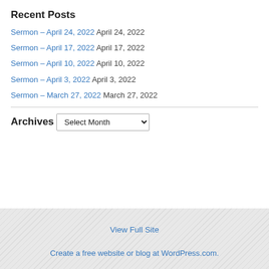Recent Posts
Sermon – April 24, 2022 April 24, 2022
Sermon – April 17, 2022 April 17, 2022
Sermon – April 10, 2022 April 10, 2022
Sermon – April 3, 2022 April 3, 2022
Sermon – March 27, 2022 March 27, 2022
Archives
Select Month
View Full Site
Create a free website or blog at WordPress.com.